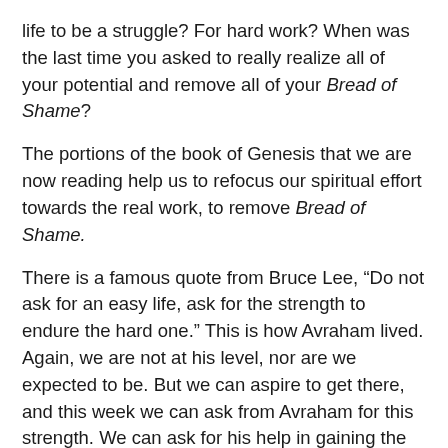life to be a struggle? For hard work? When was the last time you asked to really realize all of your potential and remove all of your Bread of Shame?
The portions of the book of Genesis that we are now reading help us to refocus our spiritual effort towards the real work, to remove Bread of Shame.
There is a famous quote from Bruce Lee, “Do not ask for an easy life, ask for the strength to endure the hard one.” This is how Avraham lived. Again, we are not at his level, nor are we expected to be. But we can aspire to get there, and this week we can ask from Avraham for this strength. We can ask for his help in gaining the courage and determination to fight the real fight, to really push ourselves outside of our comfort zone, to grow our desire to completely remove our Bread of Shame, and even to do this for the whole world, not only for ourselves.